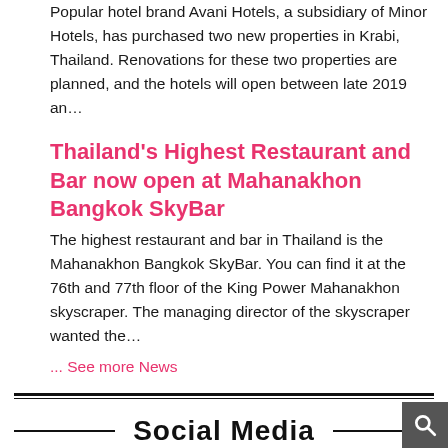Popular hotel brand Avani Hotels, a subsidiary of Minor Hotels, has purchased two new properties in Krabi, Thailand. Renovations for these two properties are planned, and the hotels will open between late 2019 an…
Thailand's Highest Restaurant and Bar now open at Mahanakhon Bangkok SkyBar
The highest restaurant and bar in Thailand is the Mahanakhon Bangkok SkyBar. You can find it at the 76th and 77th floor of the King Power Mahanakhon skyscraper. The managing director of the skyscraper wanted the…
... See more News
Social Media
I am active on media and you can find heaps of other stuff